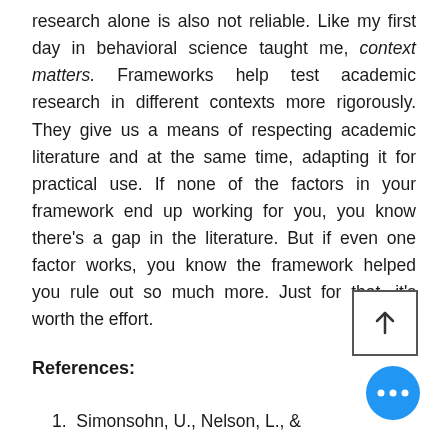research alone is also not reliable. Like my first day in behavioral science taught me, context matters. Frameworks help test academic research in different contexts more rigorously. They give us a means of respecting academic literature and at the same time, adapting it for practical use. If none of the factors in your framework end up working for you, you know there's a gap in the literature. But if even one factor works, you know the framework helped you rule out so much more. Just for that, it's worth the effort.
References:
1.  Simonsohn, U., Nelson, L., &